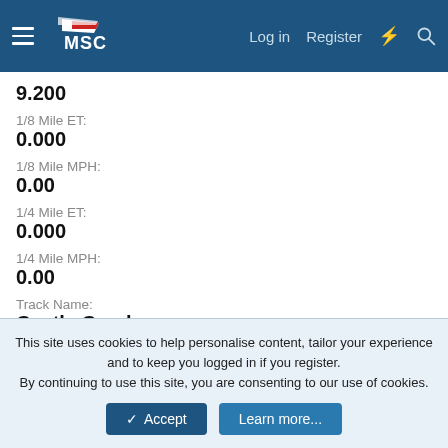MSC — Log in | Register
9.200
1/8 Mile ET:
0.000
1/8 Mile MPH:
0.00
1/4 Mile ET:
0.000
1/4 Mile MPH:
0.00
Track Name:
Castle Combe
Signature
This site uses cookies to help personalise content, tailor your experience and to keep you logged in if you register.
By continuing to use this site, you are consenting to our use of cookies.